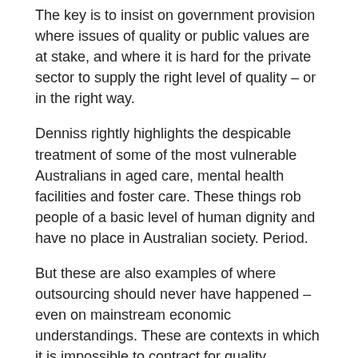The key is to insist on government provision where issues of quality or public values are at stake, and where it is hard for the private sector to supply the right level of quality – or in the right way.
Denniss rightly highlights the despicable treatment of some of the most vulnerable Australians in aged care, mental health facilities and foster care. These things rob people of a basic level of human dignity and have no place in Australian society. Period.
But these are also examples of where outsourcing should never have happened – even on mainstream economic understandings. These are contexts in which it is impossible to contract for quality. Mainstream economics realises this, even if neoliberal ideologues do not.
The 2016 Nobel Prize in Economic Science was shared by Oliver Hart, of Harvard University, whose major contribution has been to analyse economic arrangements when contracts are incomplete. An important application of this approach is a celebrated paper (with Andrei Shelifer and Rob Vishny) that highlights that the "quality" of service provision can be hard to measure and contract on in a range of areas, meaning that government ownership will